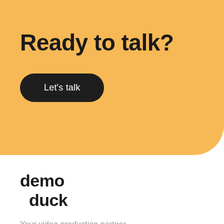Ready to talk?
Let's talk
[Figure (logo): demo duck logo text in bold black]
Your video production partner